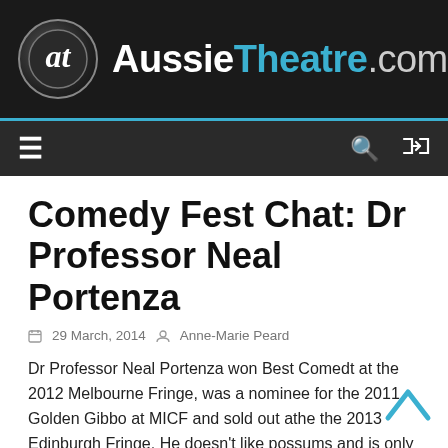[Figure (logo): AussieTheatre.com website header logo with circular 'at' monogram icon and site name in white and blue text on dark background]
≡   🔍  ⇄
Comedy Fest Chat: Dr Professor Neal Portenza
29 March, 2014   Anne-Marie Peard
Dr Professor Neal Portenza won Best Comedt at the 2012 Melbourne Fringe, was a nominee for the 2011 Golden Gibbo at MICF and sold out athe the 2013 Edinburgh Fringe. He doesn't like possums and is only having Wednesday nights off this MICE for his show Dr